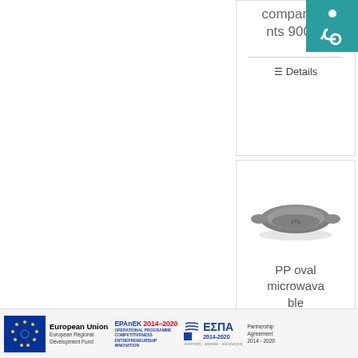compartments 900ml
Details
[Figure (photo): PP oval microwavable tray product image]
PP oval microwavable
[Figure (logo): Accessibility icon (wheelchair symbol) on teal background]
European Union European Regional Development Fund | EPAnEK 2014-2020 OPERATIONAL PROGRAMME COMPETITIVENESS ENTREPRENEURSHIP INNOVATION | ΕΣΠΑ 2014-2020 Partnership Agreement 2014-2020